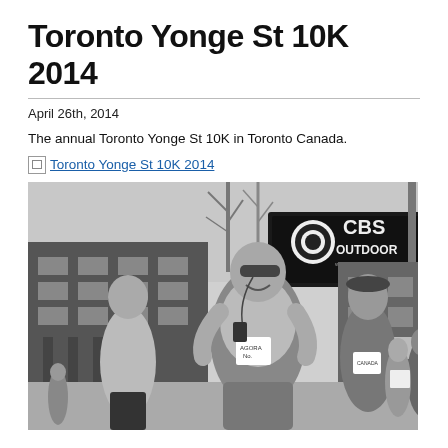Toronto Yonge St 10K 2014
April 26th, 2014
The annual Toronto Yonge St 10K in Toronto Canada.
Toronto Yonge St 10K 2014
[Figure (photo): Black and white photo of runners in the Toronto Yonge St 10K race, with a CBS Outdoor billboard and urban street scene in the background. A smiling man wearing sunglasses and a race bib is featured prominently in the foreground.]